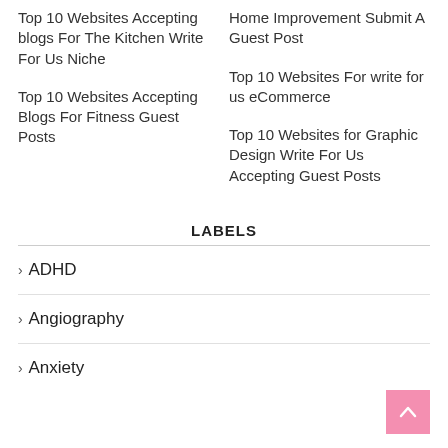Top 10 Websites Accepting blogs For The Kitchen Write For Us Niche
Home Improvement Submit A Guest Post
Top 10 Websites Accepting Blogs For Fitness Guest Posts
Top 10 Websites For write for us eCommerce
Top 10 Websites for Graphic Design Write For Us Accepting Guest Posts
LABELS
› ADHD
› Angiography
› Anxiety